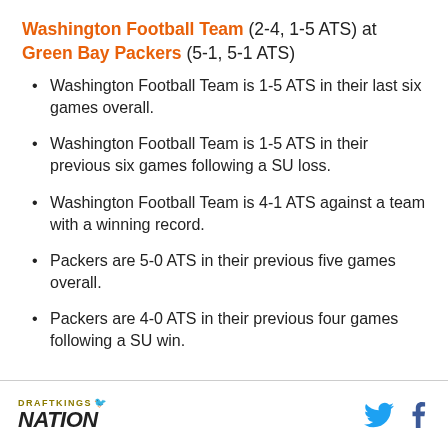Washington Football Team (2-4, 1-5 ATS) at Green Bay Packers (5-1, 5-1 ATS)
Washington Football Team is 1-5 ATS in their last six games overall.
Washington Football Team is 1-5 ATS in their previous six games following a SU loss.
Washington Football Team is 4-1 ATS against a team with a winning record.
Packers are 5-0 ATS in their previous five games overall.
Packers are 4-0 ATS in their previous four games following a SU win.
DRAFTKINGS NATION